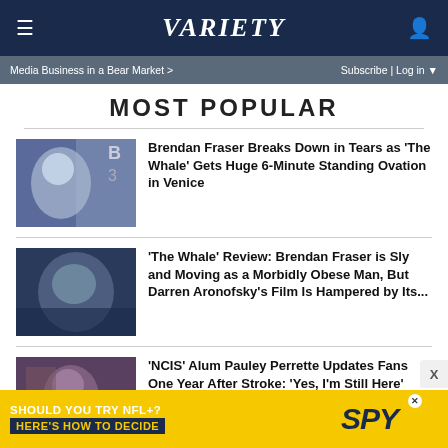VARIETY
Media Business in a Bear Market >  Subscribe | Log in
MOST POPULAR
Brendan Fraser Breaks Down in Tears as 'The Whale' Gets Huge 6-Minute Standing Ovation in Venice
'The Whale' Review: Brendan Fraser is Sly and Moving as a Morbidly Obese Man, But Darren Aronofsky's Film Is Hampered by Its...
'NCIS' Alum Pauley Perrette Updates Fans One Year After Stroke: 'Yes, I'm Still Here'
[Figure (infographic): Advertisement banner: SHOULD YOU TRY NFL+? HERE'S HOW TO DECIDE with SPY logo]